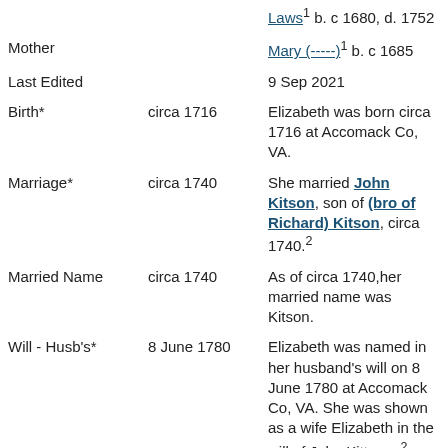| Field | Date | Details |
| --- | --- | --- |
|  |  | Laws¹ b. c 1680, d. 1752 |
| Mother |  | Mary (-----)¹ b. c 1685 |
| Last Edited |  | 9 Sep 2021 |
| Birth* | circa 1716 | Elizabeth was born circa 1716 at Accomack Co, VA. |
| Marriage* | circa 1740 | She married John Kitson, son of (bro of Richard) Kitson, circa 1740.² |
| Married Name | circa 1740 | As of circa 1740,her married name was Kitson. |
| Will - Husb's* | 8 June 1780 | Elizabeth was named in her husband's will on 8 June 1780 at Accomack Co, VA. She was shown as a wife Elizabeth in the will of John Kittson..² |
| Will* | 2 October 1783 | She made a will on 2 |